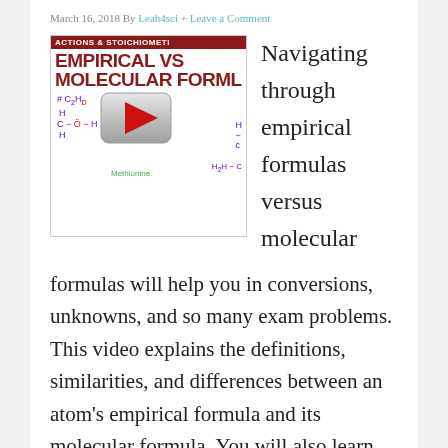March 16, 2018 By Leah4sci + Leave a Comment
[Figure (screenshot): Thumbnail image for a chemistry video about Empirical vs Molecular Formulas, showing chemical structures for methionine and other molecules, with a play button overlay. Banner reads 'ACTIONS & STOICHIOMETI', title reads 'EMPIRICAL VS MOLECULAR FORML'.]
Navigating through empirical formulas versus molecular formulas will help you in conversions, unknowns, and so many exam problems. This video explains the definitions, similarities, and differences between an atom's empirical formula and its molecular formula. You will also learn why